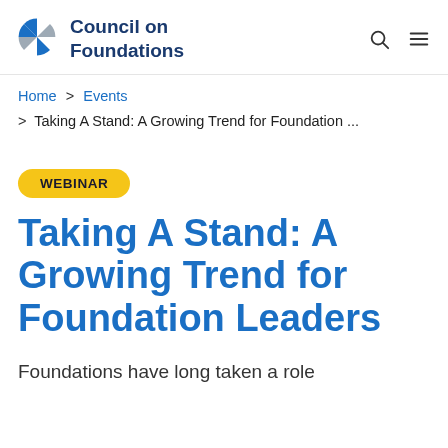Council on Foundations
Home > Events > Taking A Stand: A Growing Trend for Foundation ...
WEBINAR
Taking A Stand: A Growing Trend for Foundation Leaders
Foundations have long taken a role